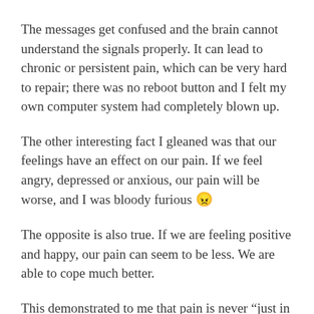The messages get confused and the brain cannot understand the signals properly. It can lead to chronic or persistent pain, which can be very hard to repair; there was no reboot button and I felt my own computer system had completely blown up.
The other interesting fact I gleaned was that our feelings have an effect on our pain. If we feel angry, depressed or anxious, our pain will be worse, and I was bloody furious 😠
The opposite is also true. If we are feeling positive and happy, our pain can seem to be less. We are able to cope much better.
This demonstrated to me that pain is never “just in the mind” or “just in the body” – it is a complex mix